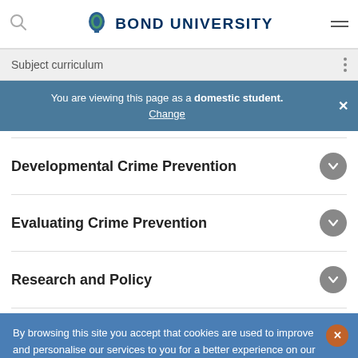Bond University
Subject curriculum
You are viewing this page as a domestic student. Change
Developmental Crime Prevention
Evaluating Crime Prevention
Research and Policy
By browsing this site you accept that cookies are used to improve and personalise our services to you for a better experience on our website and for social activity. If you continue, we will assume that you agree to our use of cookies statement.